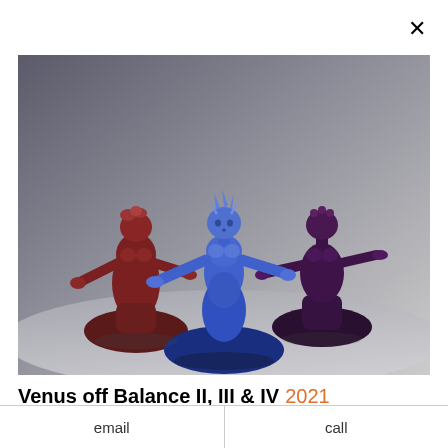[Figure (photo): Three sculptural figurines of female forms in different colors: a dark red/maroon one on the left, a blue one in the center, and a dark purple one on the right. Each figure stands on a rounded dome base with arms outstretched and stylized facial features.]
Venus off Balance II, III & IV 2021
email
call